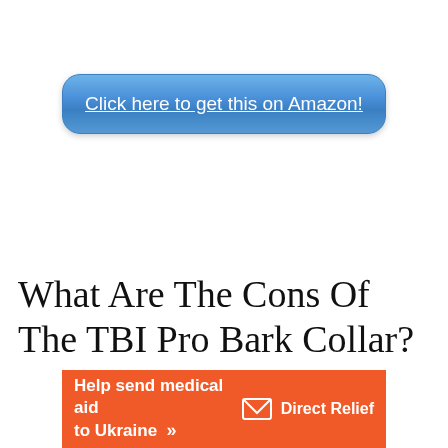[Figure (other): Blue rounded button with text 'Click here to get this on Amazon!' with underline]
What Are The Cons Of The TBI Pro Bark Collar?
[Figure (infographic): Orange advertisement banner: 'Help send medical aid to Ukraine >>' with Direct Relief logo]